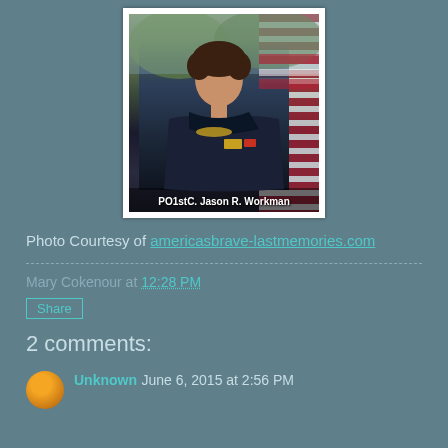[Figure (photo): Military portrait photo of PO1stC. Jason R. Workman in Navy uniform with medals, set against an American flag background. White framed photo.]
PO1stC. Jason R. Workman
Photo Courtesy of americasbrave-lastmemories.com
Mary Cokenour at 12:28 PM
Share
2 comments:
Unknown June 6, 2015 at 2:56 PM